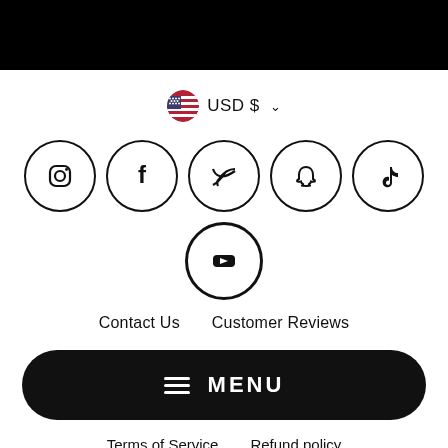[Figure (infographic): Currency selector showing US flag icon and USD $ with dropdown chevron]
[Figure (infographic): Row of 5 social media icon circles: Instagram, Facebook, Twitter, Snapchat, TikTok; plus a second row with one YouTube/play button circle]
Contact Us   Customer Reviews
[Figure (infographic): Black rounded rectangle MENU button with hamburger icon]
Terms of Service   Refund policy